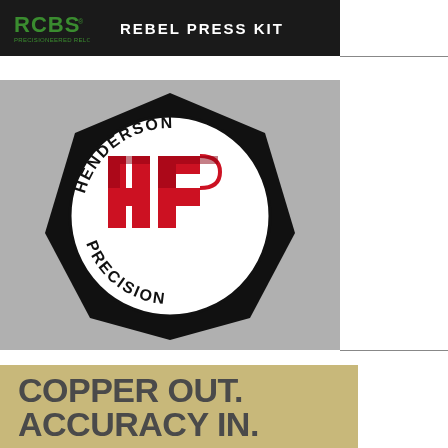[Figure (logo): RCBS Precisioneered Reloading logo in green on black banner with text REBEL PRESS KIT in white]
[Figure (logo): Henderson Precision logo: black heptagon shape with white circle containing red HP letters and curved text HENDERSON PRECISION, on gray background]
[Figure (illustration): Advertisement with tan/khaki background showing large bold dark gray text: COPPER OUT. ACCURACY IN. with partial image of what appears to be a bullet or cleaning tool at bottom]